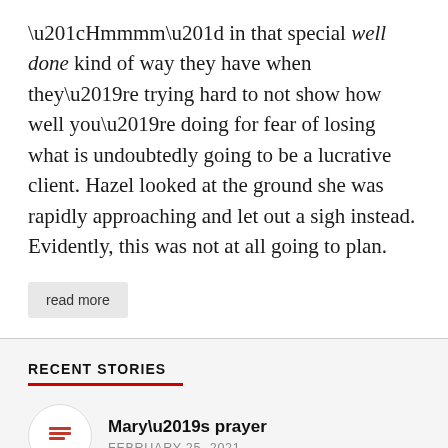“Hmmmm” in that special well done kind of way they have when they’re trying hard to not show how well you’re doing for fear of losing what is undoubtedly going to be a lucrative client. Hazel looked at the ground she was rapidly approaching and let out a sigh instead. Evidently, this was not at all going to plan.
read more
RECENT STORIES
Mary’s prayer
FEBRUARY 25, 2021